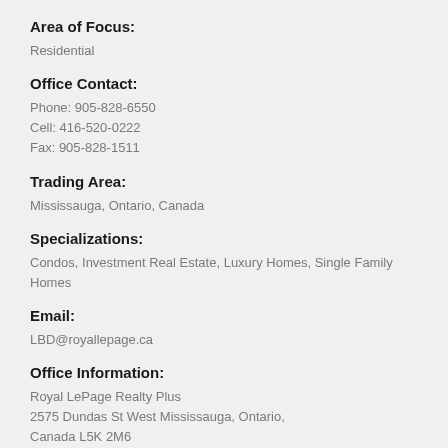Area of Focus:
Residential
Office Contact:
Phone: 905-828-6550
Cell: 416-520-0222
Fax: 905-828-1511
Trading Area:
Mississauga, Ontario, Canada
Specializations:
Condos, Investment Real Estate, Luxury Homes, Single Family Homes
Email:
LBD@royallepage.ca
Office Information:
Royal LePage Realty Plus
2575 Dundas St West Mississauga, Ontario,
Canada L5K 2M6
My Website